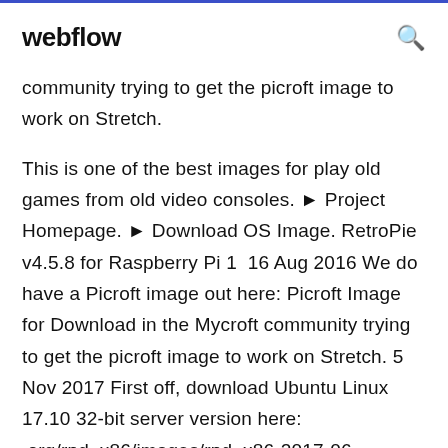webflow
community trying to get the picroft image to work on Stretch.
This is one of the best images for play old games from old video consoles. ▶ Project Homepage. ▶ Download OS Image. RetroPie v4.5.8 for Raspberry Pi 1 16 Aug 2016 We do have a Picroft image out here: Picroft Image for Download in the Mycroft community trying to get the picroft image to work on Stretch. 5 Nov 2017 First off, download Ubuntu Linux 17.10 32-bit server version here: .org/rpd_x86/images/rpd_x86-2017-06-23/2017-06-22-rpd-x86-jessie.iso.torrent Off I went and downloaded Picroft - a ready-made image - for